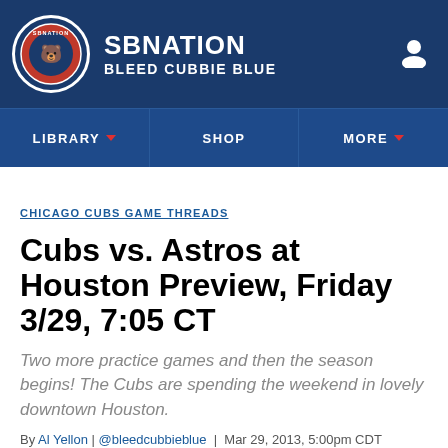SB Nation — Bleed Cubbie Blue
CHICAGO CUBS GAME THREADS
Cubs vs. Astros at Houston Preview, Friday 3/29, 7:05 CT
Two more practice games and then the season begins! The Cubs are spending the weekend in lovely downtown Houston.
By Al Yellon | @bleedcubbieblue | Mar 29, 2013, 5:00pm CDT